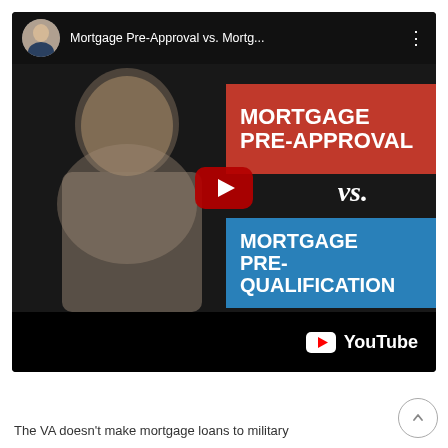[Figure (screenshot): YouTube video thumbnail showing a man's face on the left with two colored banners on the right reading 'MORTGAGE PRE-APPROVAL' (red banner) and 'MORTGAGE PRE-QUALIFICATION' (blue banner), with a YouTube play button in the center. The top bar shows the video title 'Mortgage Pre-Approval vs. Mortg...' with a channel avatar.]
The VA doesn't make mortgage loans to military